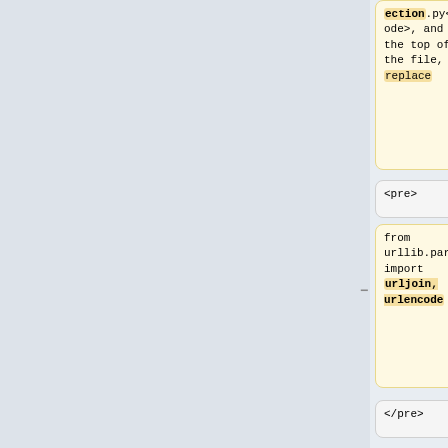ection.py</code>, and at the top of the file, replace
de>, and at the top of the file, add the following line:
<pre>
<pre>
from urllib.parse import urljoin, urlencode
from urllib.parse import quote
</pre>
</pre>
Then, in the `get_user` function, replace
with